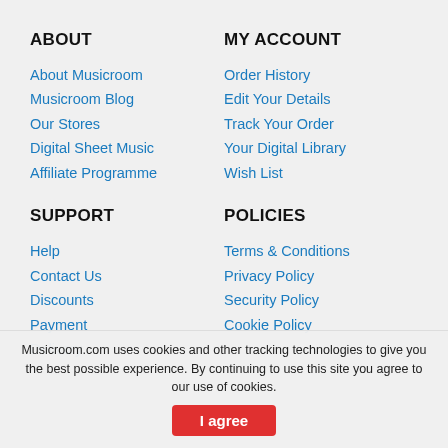ABOUT
About Musicroom
Musicroom Blog
Our Stores
Digital Sheet Music
Affiliate Programme
MY ACCOUNT
Order History
Edit Your Details
Track Your Order
Your Digital Library
Wish List
SUPPORT
Help
Contact Us
Discounts
Payment
Delivery
POLICIES
Terms & Conditions
Privacy Policy
Security Policy
Cookie Policy
Musicroom.com uses cookies and other tracking technologies to give you the best possible experience. By continuing to use this site you agree to our use of cookies.
I agree